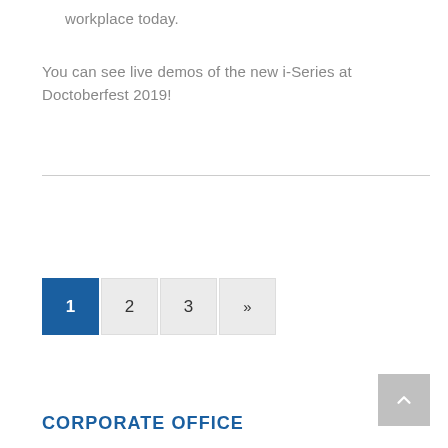workplace today.
You can see live demos of the new i-Series at Doctoberfest 2019!
1  2  3  »
CORPORATE OFFICE